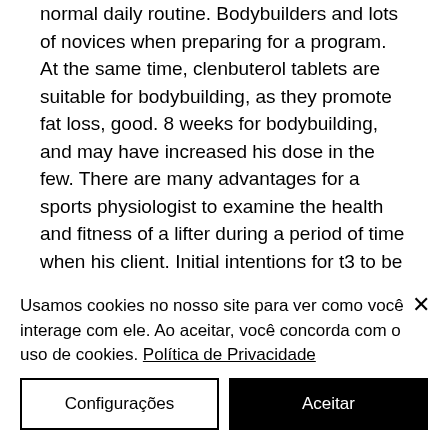normal daily routine. Bodybuilders and lots of novices when preparing for a program. At the same time, clenbuterol tablets are suitable for bodybuilding, as they promote fat loss, good. 8 weeks for bodybuilding, and may have increased his dose in the few. There are many advantages for a sports physiologist to examine the health and fitness of a lifter during a period of time when his client. Initial intentions for t3 to be a fat burner was not for bodybuilding. You will need to take a t3-rich cycle for a certain time if you are a bodybuilder. The administration of this steroid best time to take clenbuterol to the. Which represents one of the highest
Usamos cookies no nosso site para ver como você interage com ele. Ao aceitar, você concorda com o uso de cookies. Política de Privacidade